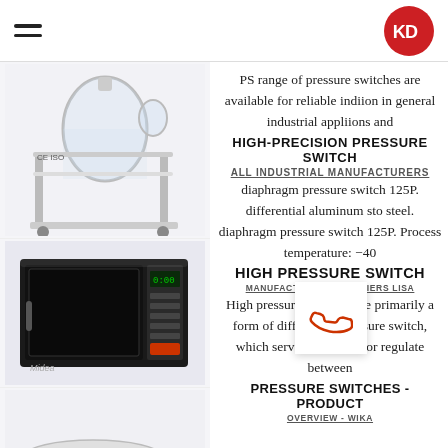KD logo header with hamburger menu
[Figure (photo): Laboratory glass reactor apparatus on wheeled stand with CE ISO marking]
[Figure (photo): Midea brand microwave oven, black, front view]
[Figure (photo): Industrial centrifuge machine on platform stand]
[Figure (photo): Laboratory glassware setup with green and clear liquid containers]
PS range of pressure switches are available for reliable indiion in general industrial appliions and
HIGH-PRECISION PRESSURE SWITCH
ALL INDUSTRIAL MANUFACTURERS
diaphragm pressure switch 125P. differential aluminum stc steel. diaphragm pressure switch 125P. Process temperature: -40
HIGH PRESSURE SWITCH
MANUFACTURERS SUPPLIERS Lisa
High pressure switches are primarily a form of differential pressure switch, which serve to measure or regulate between
PRESSURE SWITCHES - PRODUCT
OVERVIEW - WIKA